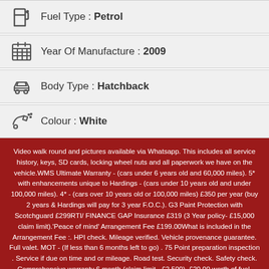Fuel Type : Petrol
Year Of Manufacture : 2009
Body Type : Hatchback
Colour : White
Video walk round and pictures available via Whatsapp. This includes all service history, keys, SD cards, locking wheel nuts and all paperwork we have on the vehicle.WMS Ultimate Warranty - (cars under 6 years old and 60,000 miles). 5* with enhancements unique to Hardings - (cars under 10 years old and under 100,000 miles). 4* - (cars over 10 years old or 100,000 miles) £350 per year (buy 2 years & Hardings will pay for 3 year F.O.C.). G3 Paint Protection with Scotchguard £299RTI/ FINANCE GAP Insurance £319 (3 Year policy- £15,000 claim limit).'Peace of mind' Arrangement Fee £199.00What is included in the Arrangement Fee :. HPI check. Mileage verified. Vehicle provenance guarantee. Full valet. MOT - (If less than 6 months left to go) . 75 Point preparation inspection . Service if due on time and or mileage. Road test. Security check. Safety check. Comprehensive warranty 6 month (claim limit - £2,500). £20.00 worth of fuel. Processing of all documents (including number plate retention and transfers) ( Not fees)
Vehicle enquiry / Test drive booking
Vehicle details